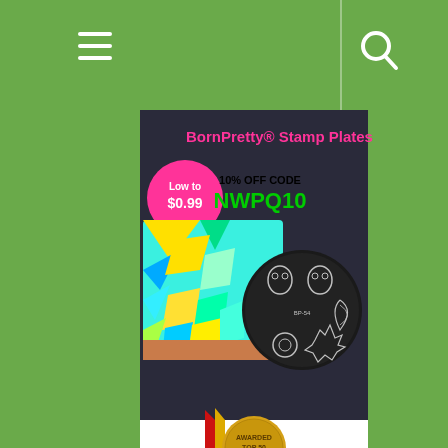[Figure (screenshot): Website screenshot showing a green navigation header bar with hamburger menu icon on the left and search icon on the right, separated by a vertical line. Below is a BornPretty Stamp Plates advertisement banner showing nail art designs and a stamp plate, with text 'BornPretty® Stamp Plates', 'Low to $0.99', '10% OFF CODE NWPQ10'. Below the ad is a gold medal with red ribbon showing 'AWARDED TOP 50 NAIL POLISH'.]